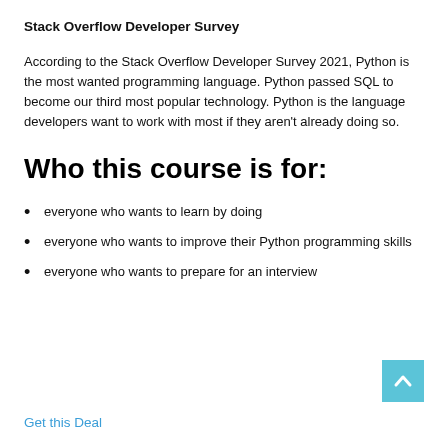Stack Overflow Developer Survey
According to the Stack Overflow Developer Survey 2021, Python is the most wanted programming language. Python passed SQL to become our third most popular technology. Python is the language developers want to work with most if they aren't already doing so.
Who this course is for:
everyone who wants to learn by doing
everyone who wants to improve their Python programming skills
everyone who wants to prepare for an interview
Get this Deal